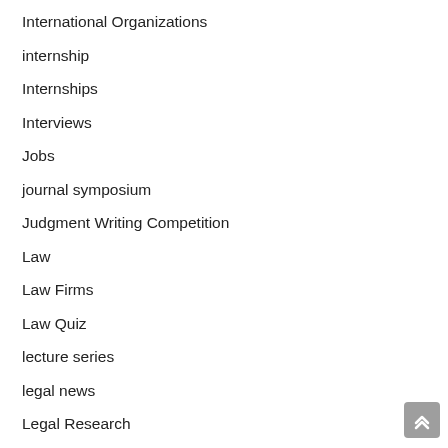International Organizations
internship
Internships
Interviews
Jobs
journal symposium
Judgment Writing Competition
Law
Law Firms
Law Quiz
lecture series
legal news
Legal Research
Legal Writing Competition
MARITIME ARBITRATION COMPETITION